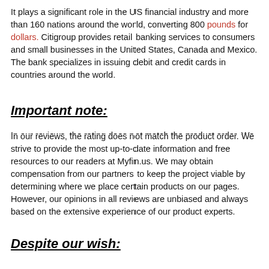It plays a significant role in the US financial industry and more than 160 nations around the world, converting 800 pounds for dollars. Citigroup provides retail banking services to consumers and small businesses in the United States, Canada and Mexico. The bank specializes in issuing debit and credit cards in countries around the world.
Important note:
In our reviews, the rating does not match the product order. We strive to provide the most up-to-date information and free resources to our readers at Myfin.us. We may obtain compensation from our partners to keep the project viable by determining where we place certain products on our pages. However, our opinions in all reviews are unbiased and always based on the extensive experience of our product experts.
Despite our wish: